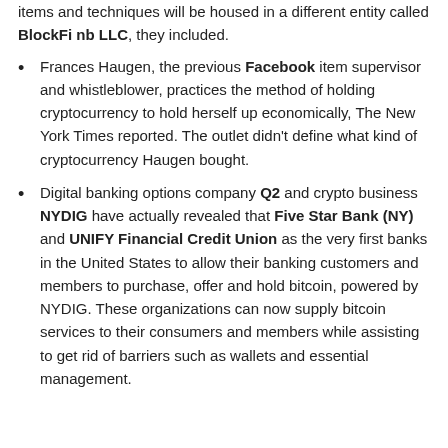items and techniques will be housed in a different entity called BlockFi nb LLC, they included.
Frances Haugen, the previous Facebook item supervisor and whistleblower, practices the method of holding cryptocurrency to hold herself up economically, The New York Times reported. The outlet didn't define what kind of cryptocurrency Haugen bought.
Digital banking options company Q2 and crypto business NYDIG have actually revealed that Five Star Bank (NY) and UNIFY Financial Credit Union as the very first banks in the United States to allow their banking customers and members to purchase, offer and hold bitcoin, powered by NYDIG. These organizations can now supply bitcoin services to their consumers and members while assisting to get rid of barriers such as wallets and essential management.